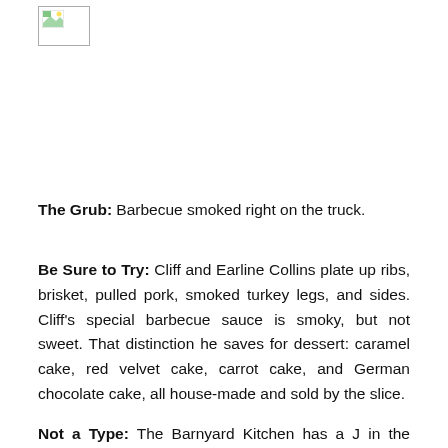[Figure (photo): Small broken/placeholder image icon in top left corner]
The Grub: Barbecue smoked right on the truck.
Be Sure to Try: Cliff and Earline Collins plate up ribs, brisket, pulled pork, smoked turkey legs, and sides. Cliff's special barbecue sauce is smoky, but not sweet. That distinction he saves for dessert: caramel cake, red velvet cake, carrot cake, and German chocolate cake, all house-made and sold by the slice.
Not a Type: The Barnyard Kitchen has a J in the middle for